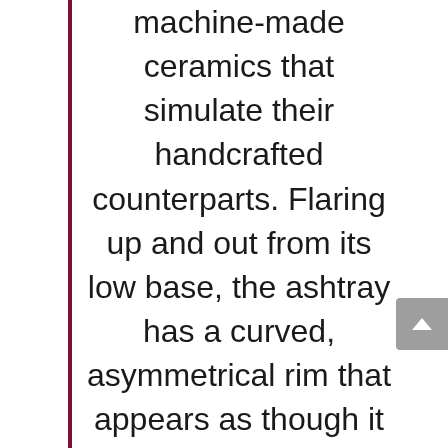machine-made ceramics that simulate their handcrafted counterparts. Flaring up and out from its low base, the ashtray has a curved, asymmetrical rim that appears as though it was pinched and folded by hand. Although entirely molded by